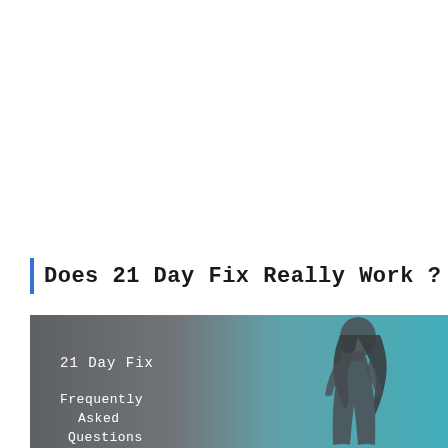Does 21 Day Fix Really Work ?
[Figure (illustration): Promotional banner image with dark grey and blue background showing a woman in athletic wear on the right side, with text '21 Day Fix' and 'Frequently Asked Questions' on the left in white monospace font.]